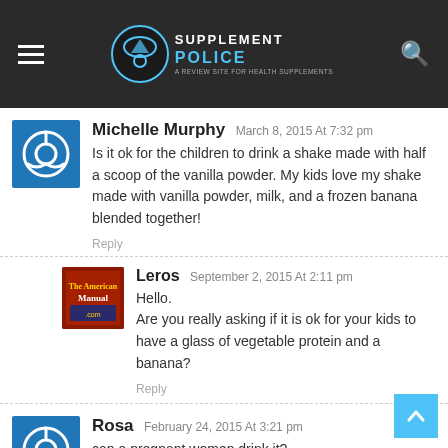Supplement Police
Michelle Murphy  March 8, 2015 At 7:32 pm
Is it ok for the children to drink a shake made with half a scoop of the vanilla powder. My kids love my shake made with vanilla powder, milk, and a frozen banana blended together!
Reply
Leros  September 2, 2015 At 2:11 pm
Hello.
Are you really asking if it is ok for your kids to have a glass of vegetable protein and a banana?
Reply
Rosa  February 24, 2015 At 3:21 pm
can a pregnant women drink it?